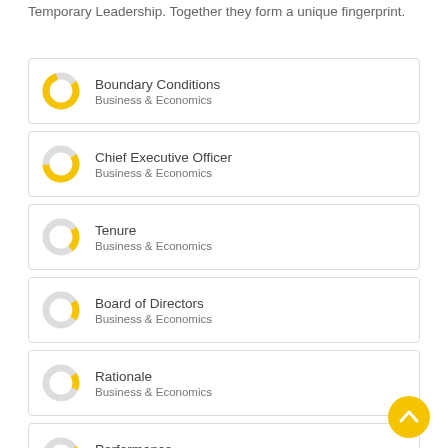Temporary Leadership. Together they form a unique fingerprint.
[Figure (donut-chart): Donut chart for Boundary Conditions - mostly yellow/filled]
Boundary Conditions
Business & Economics
[Figure (donut-chart): Donut chart for Chief Executive Officer - partially yellow]
Chief Executive Officer
Business & Economics
[Figure (donut-chart): Donut chart for Tenure - small yellow portion]
Tenure
Business & Economics
[Figure (donut-chart): Donut chart for Board of Directors - small yellow portion]
Board of Directors
Business & Economics
[Figure (donut-chart): Donut chart for Rationale - small yellow portion]
Rationale
Business & Economics
[Figure (donut-chart): Donut chart for Performance - small yellow portion]
Performance
Business & Economics